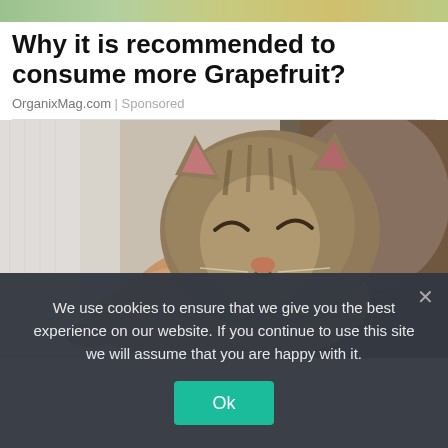[Figure (photo): Top strip of a colorful photo, appears to show food or landscape with warm tones]
Why it is recommended to consume more Grapefruit?
OrganixMag.com | Sponsored
[Figure (photo): Close-up photo of a tabby cat with eyes closed, resting on a person's hand; cat looks content and sleepy]
We use cookies to ensure that we give you the best experience on our website. If you continue to use this site we will assume that you are happy with it.